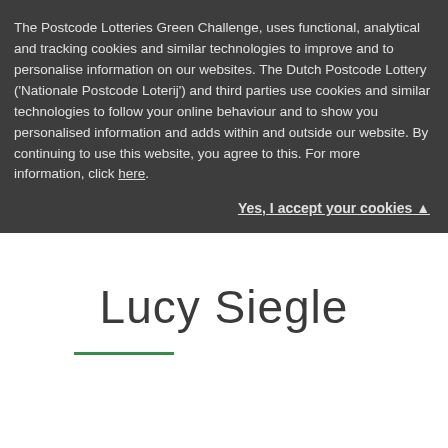The Postcode Lotteries Green Challenge, uses functional, analytical and tracking cookies and similar technologies to improve and to personalise information on our websites. The Dutch Postcode Lottery ('Nationale Postcode Loterij') and third parties use cookies and similar technologies to follow your online behaviour and to show you personalised information and adds within and outside our website. By continuing to use this website, you agree to this. For more information, click here.
Yes, I accept your cookies ▲
Lucy Siegle